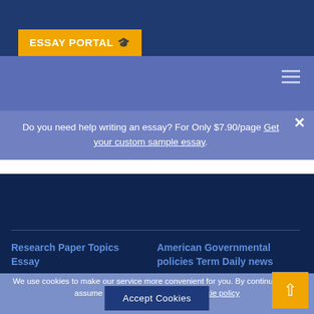ESSAY PORTAL
Do you need help writing an essay? For Only $7.90/page Get your custom sample essay
Research Paper Topics Essay
American Governmental policies Term Daily news
We use cookies to make our service more convenient for you. By continuing we'll assume you're on board with our cookie policy
Accept Cookies